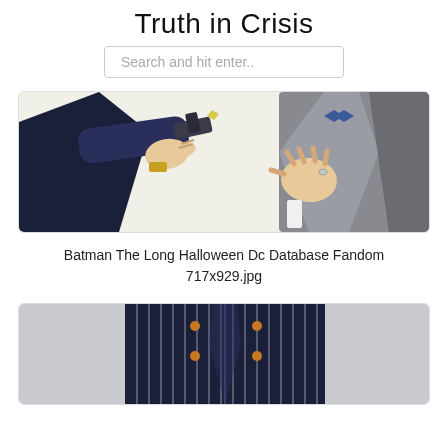Truth in Crisis
Search and hit enter..
[Figure (illustration): Comic book illustration showing two figures — one in a dark navy suit pointing a gun, the other in a grey suit. Close-up of hands, gun, and torsos from Batman The Long Halloween.]
Batman The Long Halloween Dc Database Fandom 717x929.jpg
[Figure (illustration): Comic book illustration showing a figure in a dark navy and white pinstripe double-breasted suit with orange buttons, cropped to the torso and legs.]